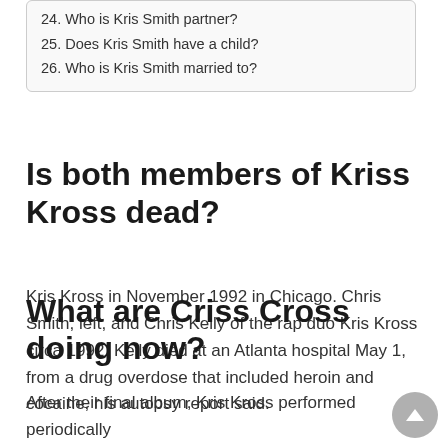24. Who is Kris Smith partner?
25. Does Kris Smith have a child?
26. Who is Kris Smith married to?
Is both members of Kriss Kross dead?
Kris Kross in November 1992 in Chicago. Chris Smith, left, and Chris Kelly of the rap duo Kris Kross circa 1992. Kelly died at an Atlanta hospital May 1, from a drug overdose that included heroin and cocaine, his autopsy report said.
What are Criss Cross doing now?
After their final album, Kris Kross performed periodically